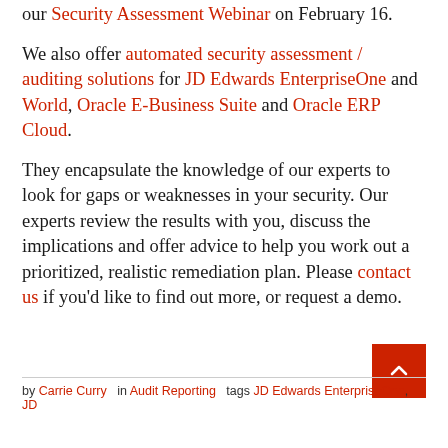our Security Assessment Webinar on February 16.
We also offer automated security assessment / auditing solutions for JD Edwards EnterpriseOne and World, Oracle E-Business Suite and Oracle ERP Cloud.
They encapsulate the knowledge of our experts to look for gaps or weaknesses in your security. Our experts review the results with you, discuss the implications and offer advice to help you work out a prioritized, realistic remediation plan. Please contact us if you'd like to find out more, or request a demo.
by Carrie Curry  in Audit Reporting  tags JD Edwards EnterpriseOne, JD